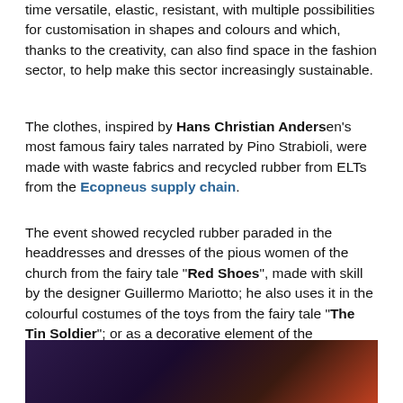time versatile, elastic, resistant, with multiple possibilities for customisation in shapes and colours and which, thanks to the creativity, can also find space in the fashion sector, to help make this sector increasingly sustainable.
The clothes, inspired by Hans Christian Andersen's most famous fairy tales narrated by Pino Strabioli, were made with waste fabrics and recycled rubber from ELTs from the Ecopneus supply chain.
The event showed recycled rubber paraded in the headdresses and dresses of the pious women of the church from the fairy tale "Red Shoes", made with skill by the designer Guillermo Mariotto; he also uses it in the colourful costumes of the toys from the fairy tale "The Tin Soldier"; or as a decorative element of the imaginative dress of "The Ugly Duckling" created by designer Federico Firoldi and made with the techniques of recycling vintage garments.
[Figure (photo): Dark photograph strip showing fashion event, people in colourful costumes against dark background]